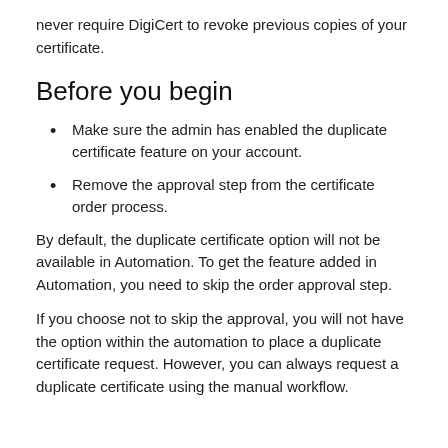never require DigiCert to revoke previous copies of your certificate.
Before you begin
Make sure the admin has enabled the duplicate certificate feature on your account.
Remove the approval step from the certificate order process.
By default, the duplicate certificate option will not be available in Automation. To get the feature added in Automation, you need to skip the order approval step.
If you choose not to skip the approval, you will not have the option within the automation to place a duplicate certificate request. However, you can always request a duplicate certificate using the manual workflow.